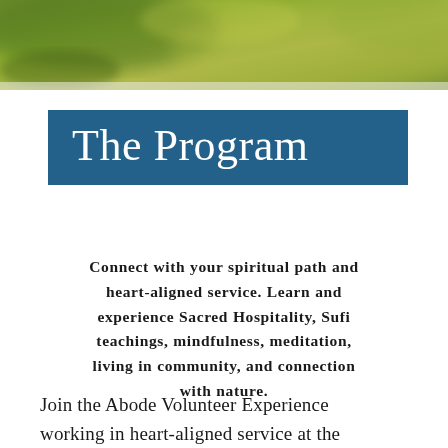[Figure (photo): Blurred green and olive nature/foliage background banner at top of page]
The Program
Connect with your spiritual path and heart-aligned service. Learn and experience Sacred Hospitality, Sufi teachings, mindfulness, meditation, living in community, and connection with nature.
Join the Abode Volunteer Experience working in heart-aligned service at the